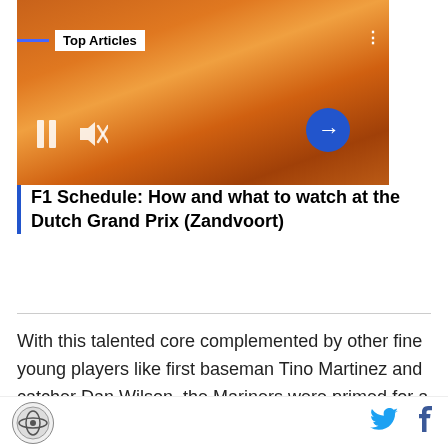[Figure (screenshot): Video thumbnail showing a crowd of people in orange with orange smoke at a Dutch Grand Prix fan event. Overlaid UI shows 'Top Articles' bar, pause button, mute button, next arrow button, and three-dot menu.]
F1 Schedule: How and what to watch at the Dutch Grand Prix (Zandvoort)
With this talented core complemented by other fine young players like first baseman Tino Martinez and catcher Dan Wilson, the Mariners were primed for a dark horse run at the playoffs in '95. They fell behind by 13 1/2 games to the California Angels though, and